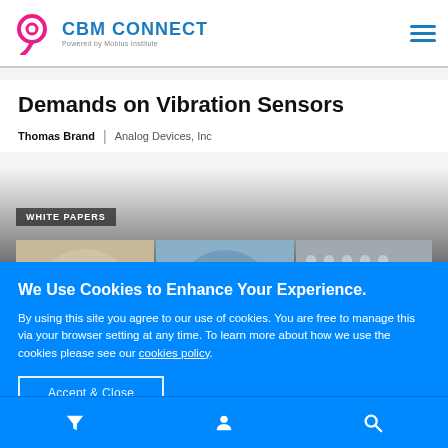CBM CONNECT — Powered by Mobius Institute
Demands on Vibration Sensors
Thomas Brand | Analog Devices, Inc
[Figure (photo): WHITE PAPERS — Three industrial machinery photos side by side]
We Use Cookies to Enhance Your Experience.
By using this site you agree to our use of cookies. You are free to manage this via your browser setting at any time. To learn more about how we use the cookies please see our cookies policy.
Accept & Close
Filter | Profile | Search navigation icons